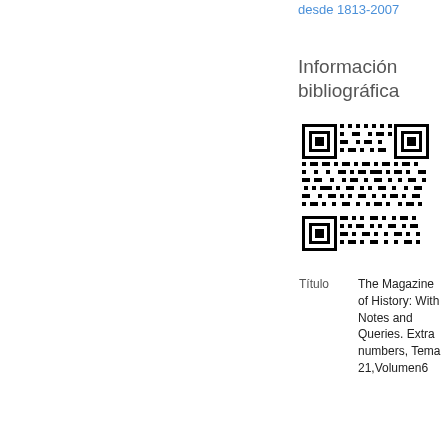desde 1813-2007
Información bibliográfica
[Figure (other): QR code linking to bibliographic information]
| Título | The Magazine of History: With Notes and Queries. Extra numbers, Tema 21,Volumen6 |